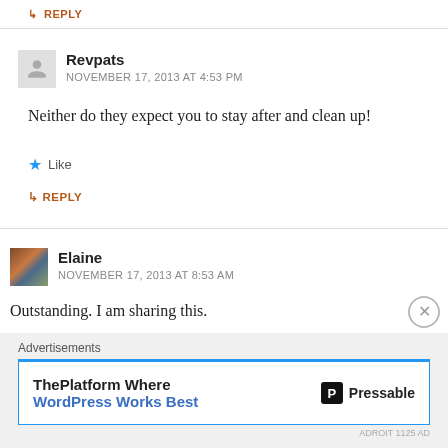↳ REPLY
Revpats
NOVEMBER 17, 2013 AT 4:53 PM
Neither do they expect you to stay after and clean up!
★ Like
↳ REPLY
Elaine
NOVEMBER 17, 2013 AT 8:53 AM
Outstanding. I am sharing this.
Advertisements
ThePlatform Where WordPress Works Best
[Figure (logo): Pressable logo with P icon]